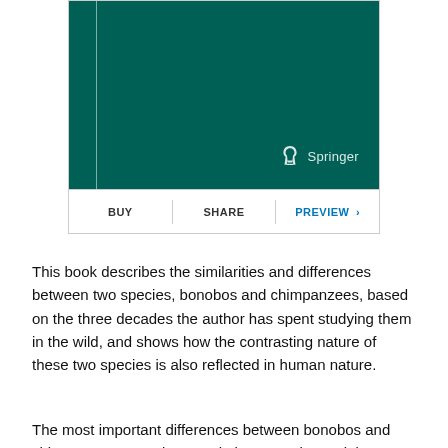[Figure (illustration): Springer book cover with dark teal/green background, a thin vertical white line on the left side, and the Springer logo (horse chess piece icon + 'Springer' text) in the lower right corner.]
BUY | SHARE | PREVIEW >
This book describes the similarities and differences between two species, bonobos and chimpanzees, based on the three decades the author has spent studying them in the wild, and shows how the contrasting nature of these two species is also reflected in human nature.
The most important differences between bonobos and chimpanzees, our closest relatives, are the social